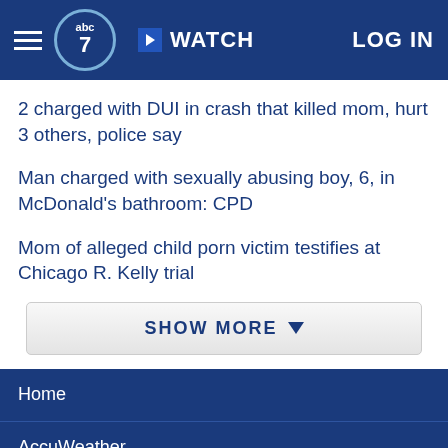abc7 WATCH LOG IN
2 charged with DUI in crash that killed mom, hurt 3 others, police say
Man charged with sexually abusing boy, 6, in McDonald's bathroom: CPD
Mom of alleged child porn victim testifies at Chicago R. Kelly trial
SHOW MORE
Home
AccuWeather
Traffic
Local News
Categories